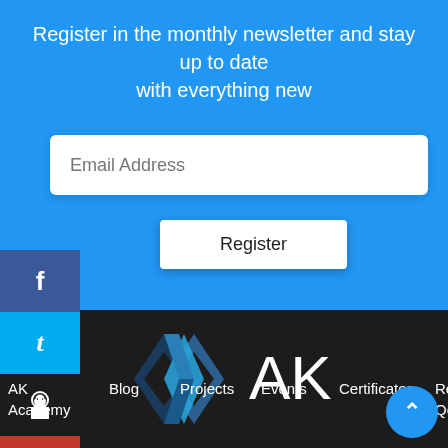Register in the monthly newsletter and stay up to date with everything new
[Figure (screenshot): Email Address input field placeholder]
[Figure (screenshot): Register button]
[Figure (logo): AK Academy logo with diamond/chevron shape in blue and text AK]
AK Academy   Blog   Projects   Events   Certificates   Re... Qoute